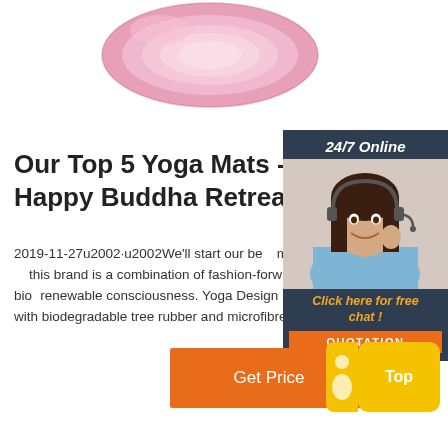[Figure (photo): Pink yoga mat rolled up, shown at top of page]
Our Top 5 Yoga Mats - Happy Buddha Retreats
2019-11-27u2002·u2002We'll start our best mat journey with Yoga Design Lab. The key to this brand is a combination of fashion-forward design with innovative functionality and bio-renewable consciousness. Yoga Design Lab's signature Combo mats are made with biodegradable tree rubber and microfibre made from recycled water bottles.
[Figure (infographic): 24/7 Online chat widget with photo of woman wearing headset, 'Click here for free chat!' text, and QUOTATION button]
[Figure (other): Orange 'Get Price' button]
[Figure (other): Yellow 'Top' button with arrow icon]